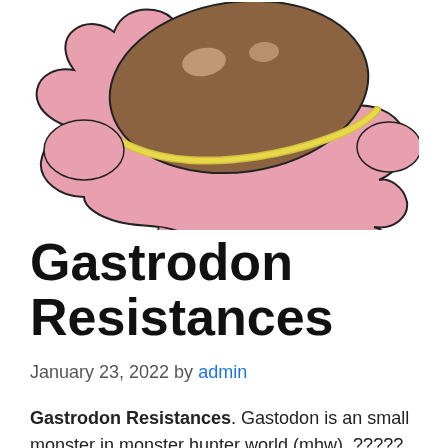[Figure (illustration): Illustrated cartoon-style Gastrodon Pokemon — a slug-like creature with pink blob body, brown shell/back with pale spots, and yellow-outlined ridge. Viewed from above-side angle on white background.]
Gastrodon Resistances
January 23, 2022 by admin
Gastrodon Resistances. Gastodon is an small monster in monster hunter world (mhw). ????? is in an monster. It was a small